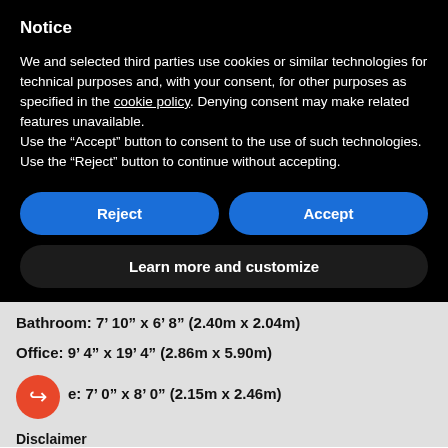Notice
We and selected third parties use cookies or similar technologies for technical purposes and, with your consent, for other purposes as specified in the cookie policy. Denying consent may make related features unavailable.
Use the “Accept” button to consent to the use of such technologies. Use the “Reject” button to continue without accepting.
Reject | Accept
Learn more and customize
Bathroom: 7’ 10” x 6’ 8” (2.40m x 2.04m)
Office: 9’ 4” x 19’ 4” (2.86m x 5.90m)
e: 7’ 0” x 8’ 0” (2.15m x 2.46m)
Disclaimer